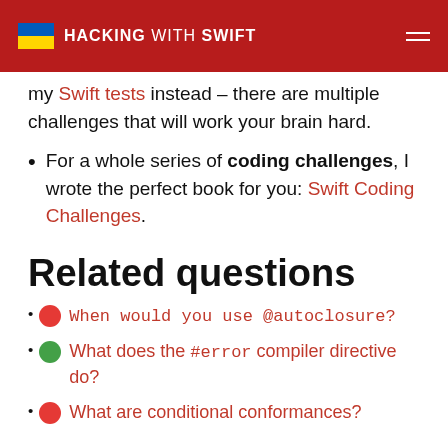HACKING WITH SWIFT
my Swift tests instead – there are multiple challenges that will work your brain hard.
For a whole series of coding challenges, I wrote the perfect book for you: Swift Coding Challenges.
Related questions
When would you use @autoclosure?
What does the #error compiler directive do?
What are conditional conformances?